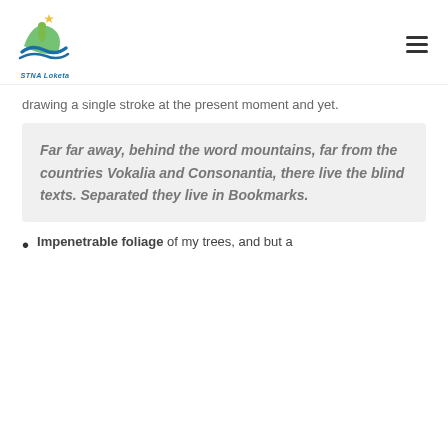[Figure (logo): STNA Loketa logo with green and blue graphic of a person and waves, with star, and blue italic text 'STNA Loketa' below]
drawing a single stroke at the present moment and yet.
Far far away, behind the word mountains, far from the countries Vokalia and Consonantia, there live the blind texts. Separated they live in Bookmarks.
Impenetrable foliage of my trees, and but a